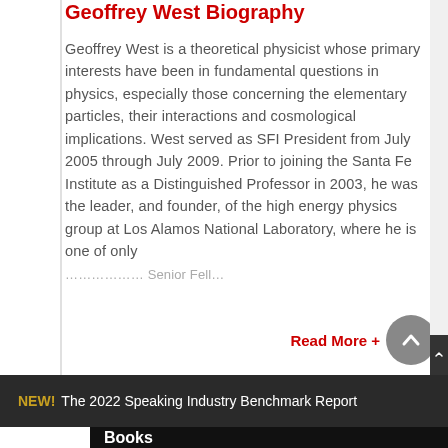Geoffrey West Biography
Geoffrey West is a theoretical physicist whose primary interests have been in fundamental questions in physics, especially those concerning the elementary particles, their interactions and cosmological implications. West served as SFI President from July 2005 through July 2009. Prior to joining the Santa Fe Institute as a Distinguished Professor in 2003, he was the leader, and founder, of the high energy physics group at Los Alamos National Laboratory, where he is one of only …
Read More +
NEW! The 2022 Speaking Industry Benchmark Report
Books